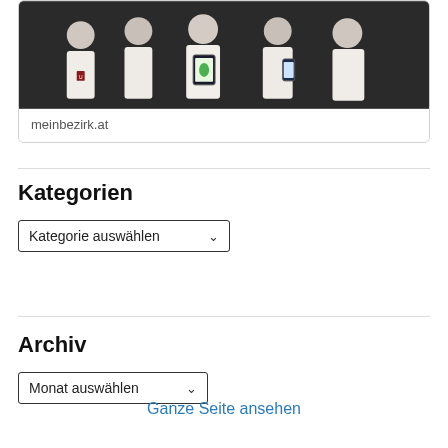[Figure (photo): Group photo of five young men in white t-shirts, one holding a tablet showing a green leaf app, another holding a smartphone, dark background]
meinbezirk.at
Kategorien
Kategorie auswählen
Archiv
Monat auswählen
Ganze Seite ansehen